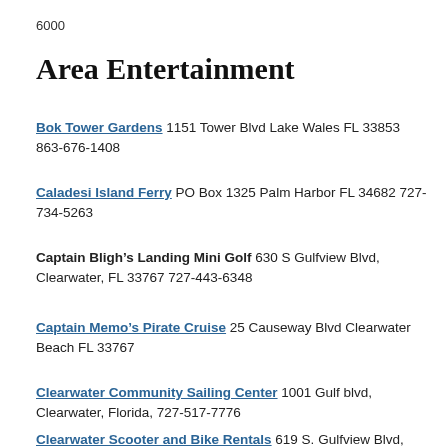6000
Area Entertainment
Bok Tower Gardens 1151 Tower Blvd Lake Wales FL 33853 863-676-1408
Caladesi Island Ferry PO Box 1325 Palm Harbor FL 34682 727-734-5263
Captain Bligh’s Landing Mini Golf 630 S Gulfview Blvd, Clearwater, FL 33767 727-443-6348
Captain Memo’s Pirate Cruise 25 Causeway Blvd Clearwater Beach FL 33767
Clearwater Community Sailing Center 1001 Gulf blvd, Clearwater, Florida, 727-517-7776
Clearwater Scooter and Bike Rentals 619 S. Gulfview Blvd,